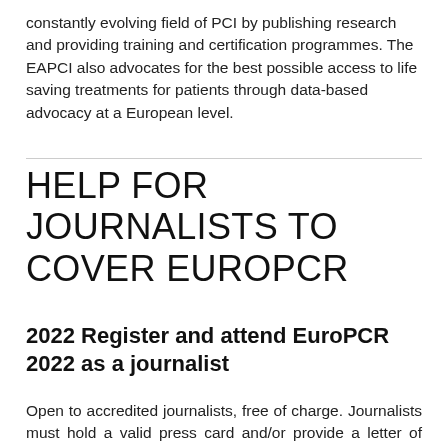constantly evolving field of PCI by publishing research and providing training and certification programmes. The EAPCI also advocates for the best possible access to life saving treatments for patients through data-based advocacy at a European level.
HELP FOR JOURNALISTS TO COVER EUROPCR
2022 Register and attend EuroPCR 2022 as a journalist
Open to accredited journalists, free of charge. Journalists must hold a valid press card and/or provide a letter of assignment from a recognised publication. To register as press go to